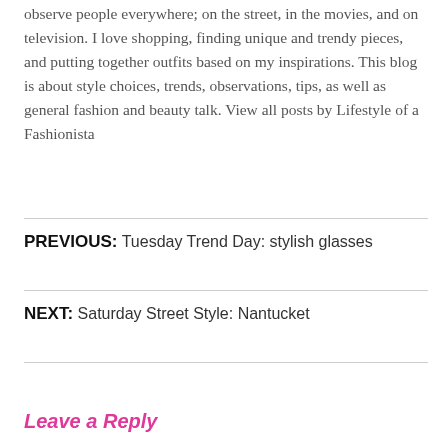observe people everywhere; on the street, in the movies, and on television. I love shopping, finding unique and trendy pieces, and putting together outfits based on my inspirations. This blog is about style choices, trends, observations, tips, as well as general fashion and beauty talk. View all posts by Lifestyle of a Fashionista
PREVIOUS: Tuesday Trend Day: stylish glasses
NEXT: Saturday Street Style: Nantucket
Leave a Reply